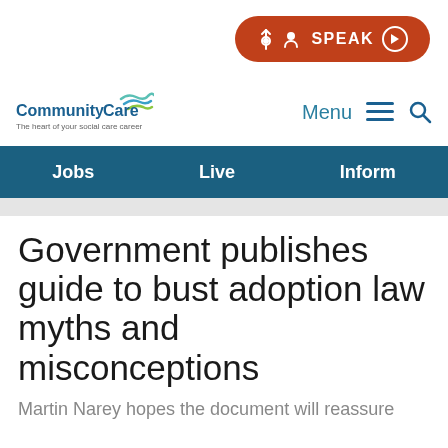[Figure (logo): CommunityCare logo with blue wave graphic and tagline 'The heart of your social care career'. SPEAK button in orange-red pill shape with person icon and play button.]
Jobs  Live  Inform
Government publishes guide to bust adoption law myths and misconceptions
Martin Narey hopes the document will reassure